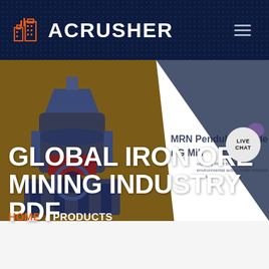ACRUSHER
GLOBAL IRON ORE MINING INDUSTRY PDF
MRN Pendulum Roller Grinding Mill
HOME / PRODUCTS
[Figure (screenshot): ACRUSHER website screenshot showing navigation bar with logo, hero banner with industrial grinding mill machine, page title 'GLOBAL IRON ORE MINING INDUSTRY PDF', breadcrumb navigation HOME / PRODUCTS, and LIVE CHAT button]